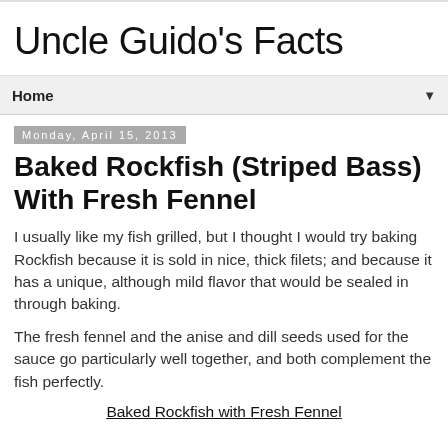Uncle Guido's Facts
Home
Monday, April 15, 2013
Baked Rockfish (Striped Bass) With Fresh Fennel
I usually like my fish grilled, but I thought I would try baking Rockfish because it is sold in nice, thick filets; and because it has a unique, although mild flavor that would be sealed in through baking.
The fresh fennel and the anise and dill seeds used for the sauce go particularly well together, and both complement the fish perfectly.
Baked Rockfish with Fresh Fennel